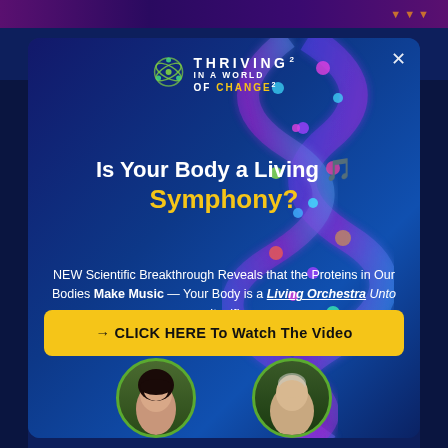[Figure (screenshot): Dark blue website background with top purple navigation bar and golden triangle icons]
[Figure (screenshot): Modal popup with DNA double helix background image in blue/purple tones and a close X button in upper right]
[Figure (logo): Thriving In A World Of Change 2022 conference logo with green atomic/molecular icon]
Is Your Body a Living 🎵 Symphony?
NEW Scientific Breakthrough Reveals that the Proteins in Our Bodies Make Music — Your Body is a Living Orchestra Unto Itself!
→ CLICK HERE To Watch The Video
[Figure (photo): Two circular portrait photos of speakers — a woman with dark hair on the left and a man with gray hair on the right — shown from shoulders up]